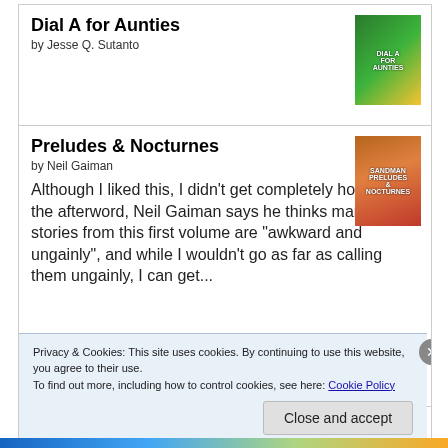Dial A for Aunties
by Jesse Q. Sutanto
Preludes & Nocturnes
by Neil Gaiman
Although I liked this, I didn't get completely hooked. In the afterword, Neil Gaiman says he thinks many of the stories from this first volume are "awkward and ungainly", and while I wouldn't go as far as calling them ungainly, I can get...
The Brontës: A Life in Letters
by Juliet Barker
Privacy & Cookies: This site uses cookies. By continuing to use this website, you agree to their use.
To find out more, including how to control cookies, see here: Cookie Policy
Close and accept